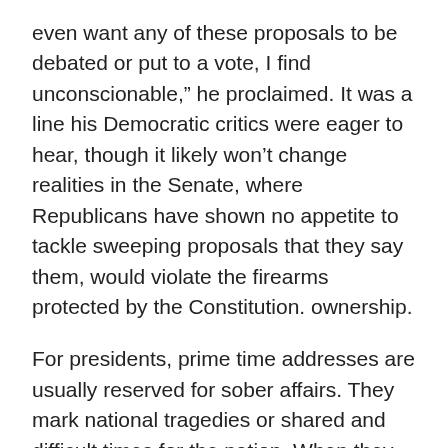even want any of these proposals to be debated or put to a vote, I find unconscionable,” he proclaimed. It was a line his Democratic critics were eager to hear, though it likely won’t change realities in the Senate, where Republicans have shown no appetite to tackle sweeping proposals that they say them, would violate the firearms protected by the Constitution. ownership.
For presidents, prime time addresses are usually reserved for sober affairs. They mark national tragedies or shared and difficult times for the nation. When they celebrate triumphs, it is often in the form of a breakthrough in a long and drawn-out struggle: the murder of Osama bin Laden, for example, or the bombing of a Syrian airfield in response to chemical attacks in this country.
Biden’s previous two prime-time addresses have fit that mold. He spoke on the first anniversary of the country’s